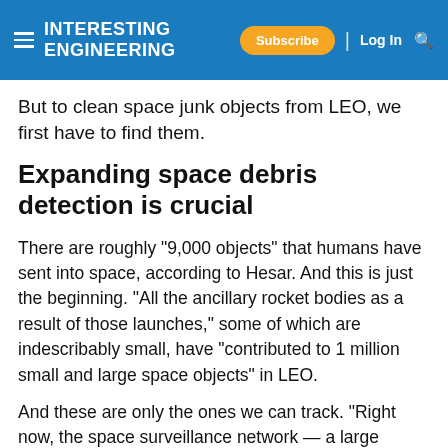INTERESTING ENGINEERING — Subscribe | Log In
But to clean space junk objects from LEO, we first have to find them.
Expanding space debris detection is crucial
There are roughly "9,000 objects" that humans have sent into space, according to Hesar. And this is just the beginning. "All the ancillary rocket bodies as a result of those launches," some of which are indescribably small, have "contributed to 1 million small and large space objects" in LEO.
And these are only the ones we can track. "Right now, the space surveillance network — a large network of r telescopes — enables us to track on the order of 30,000 objects," says Hesar. And many of these